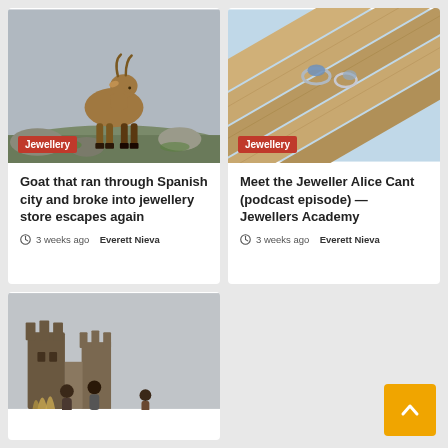[Figure (photo): A brown ibex/mountain goat standing on rocky terrain with grey sky background]
Jewellery
Goat that ran through Spanish city and broke into jewellery store escapes again
3 weeks ago  Everett Nieva
[Figure (photo): Silver jewellery rings on weathered wooden surface with light blue background]
Jewellery
Meet the Jeweller Alice Cant (podcast episode) — Jewellers Academy
3 weeks ago  Everett Nieva
[Figure (photo): People standing in front of a castle, partially visible at bottom of page]